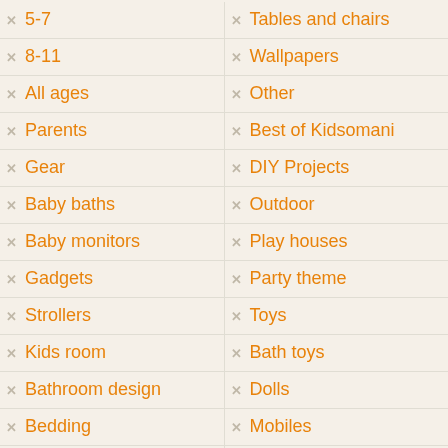5-7
8-11
All ages
Parents
Gear
Baby baths
Baby monitors
Gadgets
Strollers
Kids room
Bathroom design
Bedding
Beds
Cabinets
Tables and chairs
Wallpapers
Other
Best of Kidsomani
DIY Projects
Outdoor
Play houses
Party theme
Toys
Bath toys
Dolls
Mobiles
Robots
Teethers